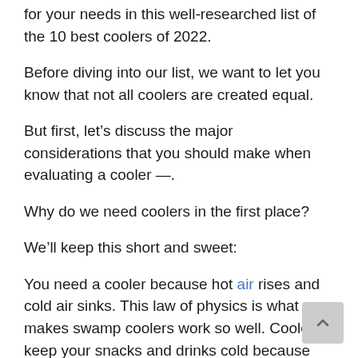for your needs in this well-researched list of the 10 best coolers of 2022.
Before diving into our list, we want to let you know that not all coolers are created equal.
But first, let’s discuss the major considerations that you should make when evaluating a cooler —.
Why do we need coolers in the first place?
We’ll keep this short and sweet:
You need a cooler because hot air rises and cold air sinks. This law of physics is what makes swamp coolers work so well. Coolers keep your snacks and drinks cold because